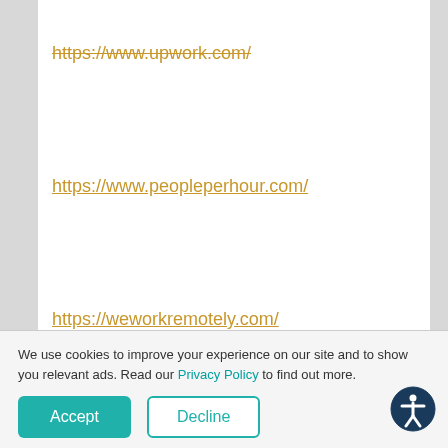https://www.upwork.com/
https://www.peopleperhour.com/
https://weworkremotely.com/
https://remotive.io/find-a-remote-job/?nabe=4904733463805952:0
https://jobs.goabroad.com/
We use cookies to improve your experience on our site and to show you relevant ads. Read our Privacy Policy to find out more.